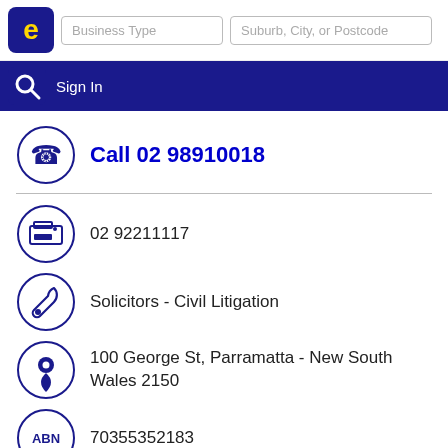[Figure (screenshot): Business directory website header with logo, Business Type and Suburb/City/Postcode search fields, and Sign In navigation bar]
Call 02 98910018
02 92211117
Solicitors - Civil Litigation
100 George St, Parramatta - New South Wales 2150
70355352183
cod@codea.com.au